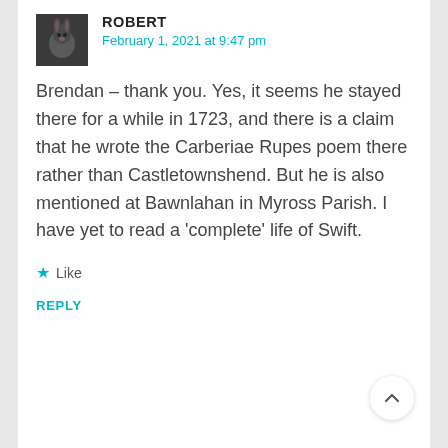[Figure (photo): Small square avatar photo of a rabbit/hare, dark toned image]
ROBERT
February 1, 2021 at 9:47 pm
Brendan – thank you. Yes, it seems he stayed there for a while in 1723, and there is a claim that he wrote the Carberiae Rupes poem there rather than Castletownshend. But he is also mentioned at Bawnlahan in Myross Parish. I have yet to read a 'complete' life of Swift.
★ Like
REPLY